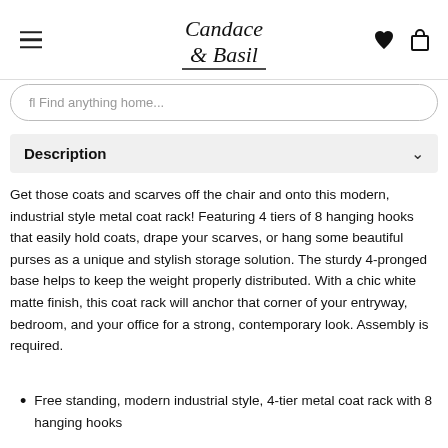Candace & Basil
fl Find anything home...
Description
Get those coats and scarves off the chair and onto this modern, industrial style metal coat rack! Featuring 4 tiers of 8 hanging hooks that easily hold coats, drape your scarves, or hang some beautiful purses as a unique and stylish storage solution. The sturdy 4-pronged base helps to keep the weight properly distributed. With a chic white matte finish, this coat rack will anchor that corner of your entryway, bedroom, and your office for a strong, contemporary look. Assembly is required.
Free standing, modern industrial style, 4-tier metal coat rack with 8 hanging hooks